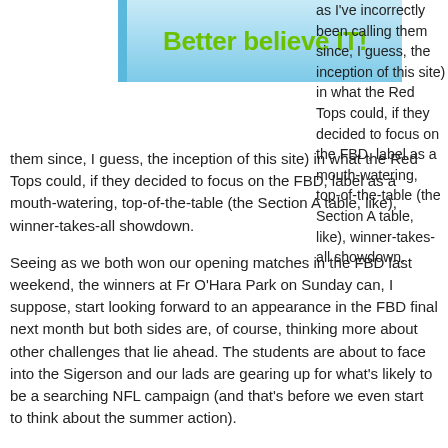[Figure (illustration): Banner graphic with cyan/blue gradient background and bold green text reading 'Better believe IT!' with a vertical bar on the left side]
as I've incorrectly been calling them since, I guess, the inception of this site) in what the Red Tops could, if they decided to focus on the FBD, label as a mouth-watering, top-of-the-table (the Section A table, like), winner-takes-all showdown.
Seeing as we both won our opening matches in the FBD last weekend, the winners at Fr O'Hara Park on Sunday can, I suppose, start looking forward to an appearance in the FBD final next month but both sides are, of course, thinking more about other challenges that lie ahead. The students are about to face into the Sigerson and our lads are gearing up for what's likely to be a searching NFL campaign (and that's before we even start to think about the summer action).
On that note, Johnno's post-match comments (handily linkable via this story in Hogan Stand) in which he explained why he'd decided to go somewhat nuclear with his team selection for the NUIG match last Sunday were, I thought, quite illuminating. Johnno said, quite simply